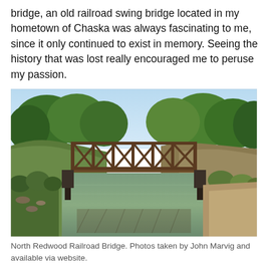bridge, an old railroad swing bridge located in my hometown of Chaska was always fascinating to me, since it only continued to exist in memory. Seeing the history that was lost really encouraged me to peruse my passion.
[Figure (photo): A steel truss railroad bridge spanning a calm river, surrounded by green trees on both banks. The brown metal truss structure is reflected in the greenish water below. Clear blue sky visible in the background.]
North Redwood Railroad Bridge. Photos taken by John Marvig and available via website.